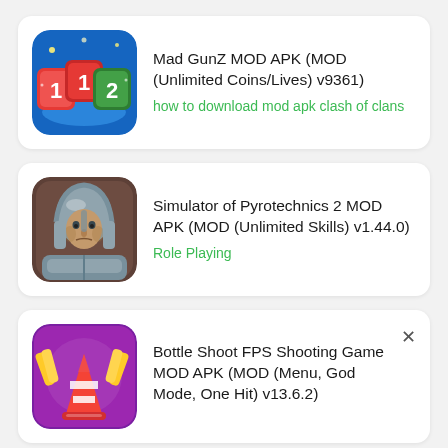[Figure (screenshot): App listing card 1: Mad GunZ MOD APK with colorful number tiles game icon]
Mad GunZ MOD APK (MOD (Unlimited Coins/Lives) v9361)
how to download mod apk clash of clans
[Figure (screenshot): App listing card 2: Simulator of Pyrotechnics 2 MOD APK with armored warrior icon]
Simulator of Pyrotechnics 2 MOD APK (MOD (Unlimited Skills) v1.44.0)
Role Playing
[Figure (screenshot): App listing card 3: Bottle Shoot FPS Shooting Game MOD APK with purple shooting game icon]
Bottle Shoot FPS Shooting Game MOD APK (MOD (Menu, God Mode, One Hit) v13.6.2)